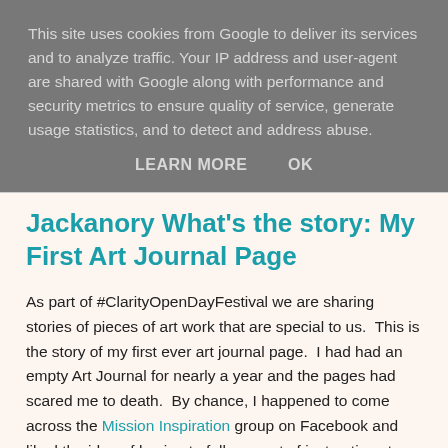This site uses cookies from Google to deliver its services and to analyze traffic. Your IP address and user-agent are shared with Google along with performance and security metrics to ensure quality of service, generate usage statistics, and to detect and address abuse.
LEARN MORE   OK
Jackanory What's the story: My First Art Journal Page
As part of #ClarityOpenDayFestival we are sharing stories of pieces of art work that are special to us.  This is the story of my first ever art journal page.  I had had an empty Art Journal for nearly a year and the pages had scared me to death.  By chance, I happened to come across the Mission Inspiration group on Facebook and liked the idea of having to follow a set of instructions to create an art journal page.  I therefore accepted August 2016's mission